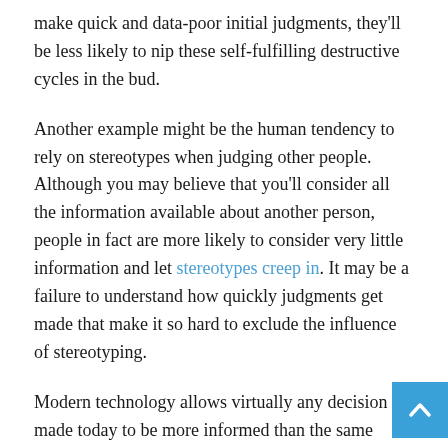make quick and data-poor initial judgments, they'll be less likely to nip these self-fulfilling destructive cycles in the bud.
Another example might be the human tendency to rely on stereotypes when judging other people. Although you may believe that you'll consider all the information available about another person, people in fact are more likely to consider very little information and let stereotypes creep in. It may be a failure to understand how quickly judgments get made that make it so hard to exclude the influence of stereotyping.
Modern technology allows virtually any decision made today to be more informed than the same decision made a few decades ago. But the human reliance on quick judgments may forestall this promise. In the quest for more informed decision-making, researchers will need to explore ways to encourage people to slow down the speed of judgment.